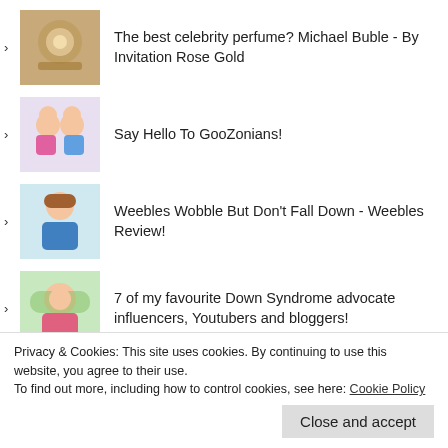The best celebrity perfume? Michael Buble - By Invitation Rose Gold
Say Hello To GooZonians!
Weebles Wobble But Don't Fall Down - Weebles Review!
7 of my favourite Down Syndrome advocate influencers, Youtubers and bloggers!
FOLLOW ME ON TWITTER
Privacy & Cookies: This site uses cookies. By continuing to use this website, you agree to their use.
To find out more, including how to control cookies, see here: Cookie Policy
Close and accept